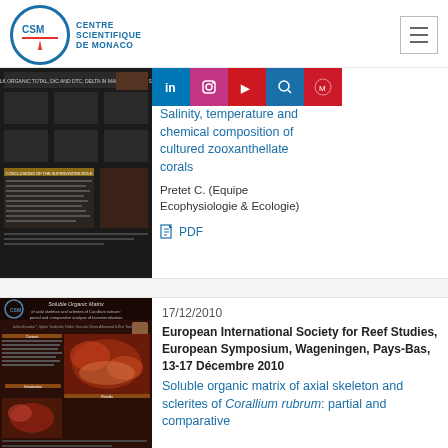Centre Scientifique de Monaco
Salinity, Temperature and chemical composition of cultured zooxanthellate corals
Pretet C. (Equipe Ecophysiologie & Ecologie)
PDF
17/12/2010
European International Society for Reef Studies, European Symposium, Wageningen, Pays-Bas, 13-17 Décembre 2010
Soluble organic matrix of axial skeleton and sclerites of Corallium rubrum: partial and comparative
[Figure (photo): Scientific poster thumbnail showing graphs and data for salinity, temperature and chemical composition study of corals]
[Figure (photo): Scientific poster thumbnail for Soluble Organic Matrix of axial skeleton and sclerites of Corallium rubrum, with red microscopy images]